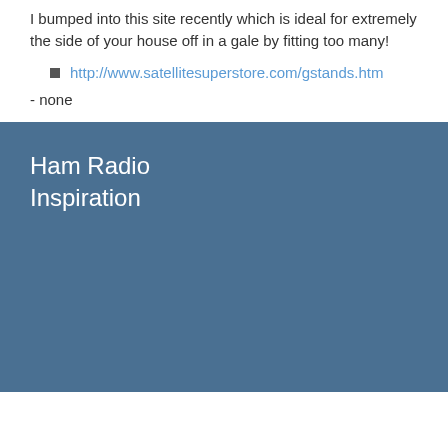I bumped into this site recently which is ideal for extremely the side of your house off in a gale by fitting too many!
http://www.satellitesuperstore.com/gstands.htm
- none
Ham Radio Inspiration